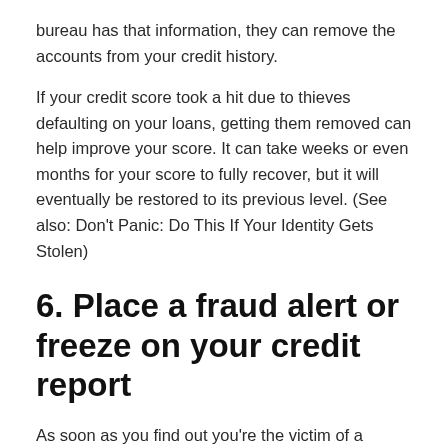bureau has that information, they can remove the accounts from your credit history.
If your credit score took a hit due to thieves defaulting on your loans, getting them removed can help improve your score. It can take weeks or even months for your score to fully recover, but it will eventually be restored to its previous level. (See also: Don't Panic: Do This If Your Identity Gets Stolen)
6. Place a fraud alert or freeze on your credit report
As soon as you find out you're the victim of a fraudulent loan, place a fraud alert on your credit report with one of the three credit reporting agencies. You can do so online: